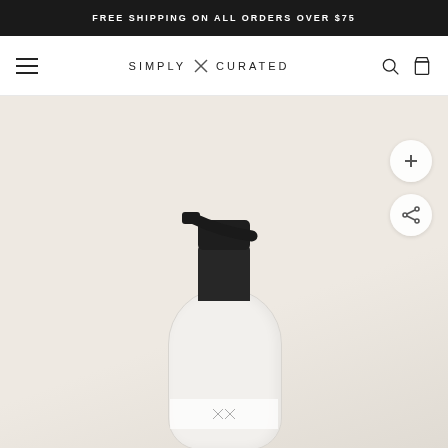FREE SHIPPING ON ALL ORDERS OVER $75
SIMPLY X CURATED
[Figure (photo): Product photo of a white pump soap/lotion bottle with black pump dispenser on a light beige background. Two circular buttons visible on the right: a plus button and a share button.]